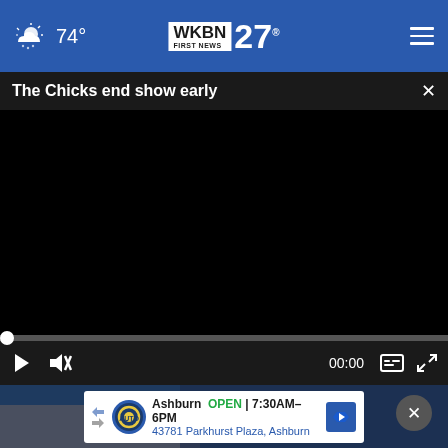74° WKBN FIRST NEWS 27
The Chicks end show early
[Figure (screenshot): Black video player with playback controls showing 00:00 timestamp, play button, mute button, captions button, and fullscreen button. Progress bar at top with white dot at beginning.]
[Figure (photo): Dark lifestyle/bedroom scene partially visible behind advertisement overlay]
Ashburn OPEN | 7:30AM–6PM 43781 Parkhurst Plaza, Ashburn